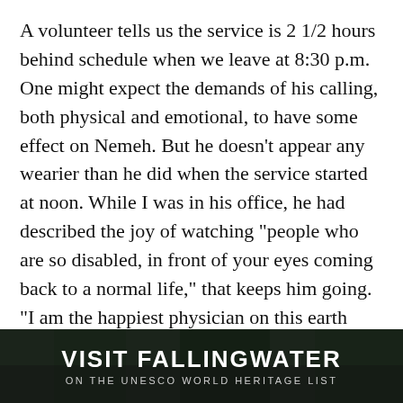A volunteer tells us the service is 2 1/2 hours behind schedule when we leave at 8:30 p.m. One might expect the demands of his calling, both physical and emotional, to have some effect on Nemeh. But he doesn't appear any wearier than he did when the service started at noon. While I was in his office, he had described the joy of watching "people who are so disabled, in front of your eyes coming back to a normal life," that keeps him going. "I am the happiest physician on this earth because of what I have witnessed."
"I had a frozen shoulder that started giving me trouble in April or May of last year. It was very difficult to move. It got to the point that I couldn't even lift my arm over my
[Figure (other): Banner advertisement: 'VISIT FALLINGWATER ON THE UNESCO WORLD HERITAGE LIST' with dark forest background]